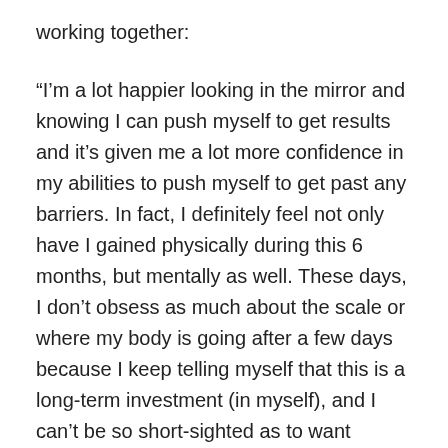working together:
“I’m a lot happier looking in the mirror and knowing I can push myself to get results and it’s given me a lot more confidence in my abilities to push myself to get past any barriers. In fact, I definitely feel not only have I gained physically during this 6 months, but mentally as well. These days, I don’t obsess as much about the scale or where my body is going after a few days because I keep telling myself that this is a long-term investment (in myself), and I can’t be so short-sighted as to want immediate results. Seriously – I don’t think I could have got to this point without your coaching. If you are ever in Singapore... please shoot me an email, first few